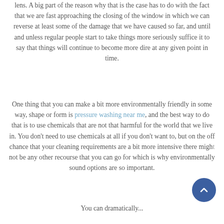lens. A big part of the reason why that is the case has to do with the fact that we are fast approaching the closing of the window in which we can reverse at least some of the damage that we have caused so far, and until and unless regular people start to take things more seriously suffice it to say that things will continue to become more dire at any given point in time.
One thing that you can make a bit more environmentally friendly in some way, shape or form is pressure washing near me, and the best way to do that is to use chemicals that are not that harmful for the world that we live in. You don't need to use chemicals at all if you don't want to, but on the off chance that your cleaning requirements are a bit more intensive there might not be any other recourse that you can go for which is why environmentally sound options are so important.
You can dramatically...